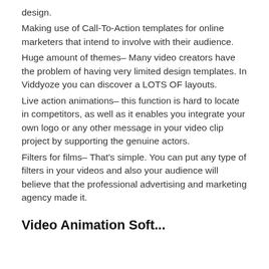design.
Making use of Call-To-Action templates for online marketers that intend to involve with their audience.
Huge amount of themes– Many video creators have the problem of having very limited design templates. In Viddyoze you can discover a LOTS OF layouts.
Live action animations– this function is hard to locate in competitors, as well as it enables you integrate your own logo or any other message in your video clip project by supporting the genuine actors.
Filters for films– That's simple. You can put any type of filters in your videos and also your audience will believe that the professional advertising and marketing agency made it.
Video Animation Soft...